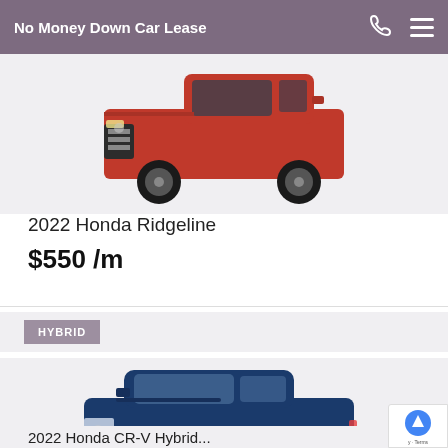No Money Down Car Lease
[Figure (photo): Red Honda Ridgeline truck, partially cropped at top, front-three-quarter view]
2022 Honda Ridgeline
$550 /m
HYBRID
[Figure (photo): Blue Honda CR-V Hybrid SUV, front-three-quarter view]
2022 Honda CR-V Hybrid